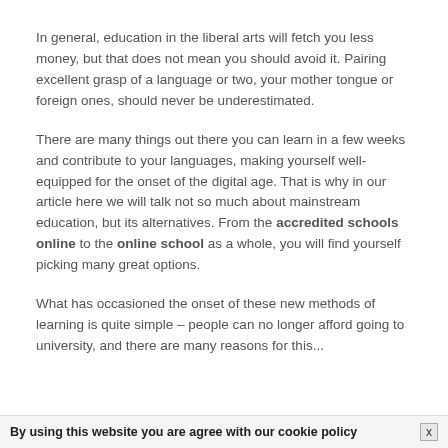In general, education in the liberal arts will fetch you less money, but that does not mean you should avoid it. Pairing excellent grasp of a language or two, your mother tongue or foreign ones, should never be underestimated.
There are many things out there you can learn in a few weeks and contribute to your languages, making yourself well-equipped for the onset of the digital age. That is why in our article here we will talk not so much about mainstream education, but its alternatives. From the accredited schools online to the online school as a whole, you will find yourself picking many great options.
What has occasioned the onset of these new methods of learning is quite simple – people can no longer afford going to university, and there are many reasons for this...
By using this website you are agree with our cookie policy